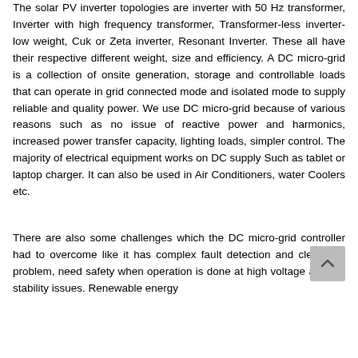The solar PV inverter topologies are inverter with 50 Hz transformer, Inverter with high frequency transformer, Transformer-less inverter-low weight, Cuk or Zeta inverter, Resonant Inverter. These all have their respective different weight, size and efficiency. A DC micro-grid is a collection of onsite generation, storage and controllable loads that can operate in grid connected mode and isolated mode to supply reliable and quality power. We use DC micro-grid because of various reasons such as no issue of reactive power and harmonics, increased power transfer capacity, lighting loads, simpler control. The majority of electrical equipment works on DC supply Such as tablet or laptop charger. It can also be used in Air Conditioners, water Coolers etc.
There are also some challenges which the DC micro grid controller had to overcome like it has complex fault detection and clearance problem, need safety when operation is done at high voltage and the stability issues. Renewable energy